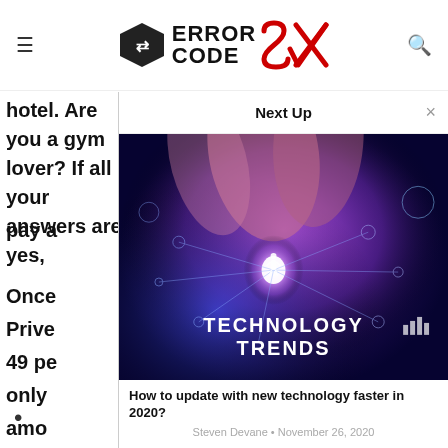Error Code SX
hotel. Are you a gym lover? If all your answers are yes, pay a
Once Prive 49 pe only amo star Curre class
[Figure (screenshot): Next Up modal popup showing a technology trends image with article title 'How to update with new technology faster in 2020?' by Steven Devane, November 26, 2020]
•